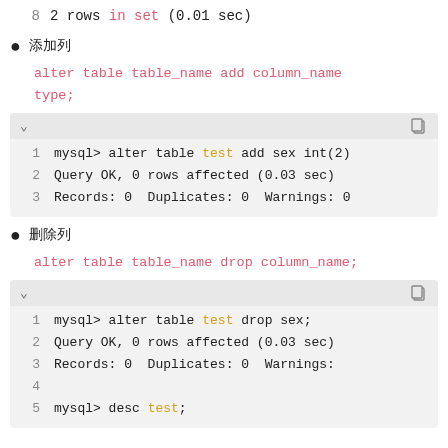8   2 rows in set (0.01 sec)
添加列
alter table table_name add column_name type;
[Figure (screenshot): Code box showing: 1 mysql> alter table test add sex int(2)  2 Query OK, 0 rows affected (0.03 sec)  3 Records: 0  Duplicates: 0  Warnings: 0]
删除列
alter table table_name drop column_name;
[Figure (screenshot): Code box showing: 1 mysql> alter table test drop sex;  2 Query OK, 0 rows affected (0.03 sec)  3 Records: 0  Duplicates: 0  Warnings:  4   5 mysql> desc test;]